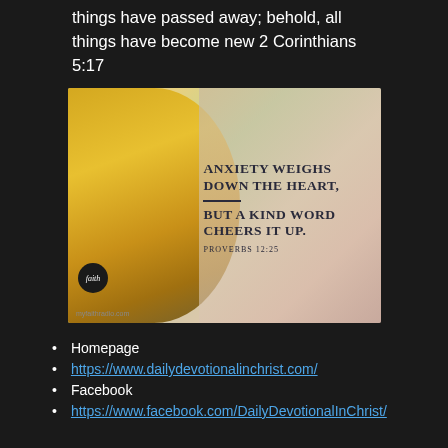things have passed away; behold, all things have become new 2 Corinthians 5:17
[Figure (photo): Inspirational image with a sunflower on the left and text overlay reading: Anxiety weighs down the heart, but a kind word cheers it up. Proverbs 12:25. Includes a faith radio badge and myfaithradio.com watermark.]
Homepage
https://www.dailydevotionalinchrist.com/
Facebook
https://www.facebook.com/DailyDevotionalInChrist/